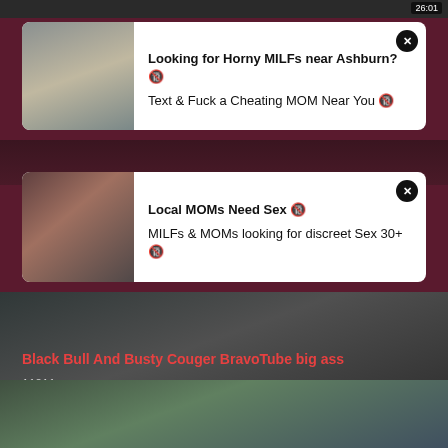[Figure (screenshot): Top portion of a video thumbnail strip with a timer overlay]
[Figure (screenshot): Ad card with image of a woman outdoors and text: Looking for Horny MILFs near Ashburn? Text & Fuck a Cheating MOM Near You]
[Figure (screenshot): Ad card with image of a dark-haired woman and text: Local MOMs Need Sex. MILFs & MOMs looking for discreet Sex 30+]
[Figure (screenshot): Video thumbnail with logo M and timer 35:26 showing adult content]
Black Bull And Busty Couger BravoTube big ass
11811
[Figure (screenshot): Bottom thumbnail showing woman outdoors in a wooded area]